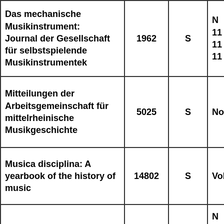| Das mechanische Musikinstrument: Journal der Gesellschaft für selbstspielende Musikinstrumentek | 1962 | S | N 11 11 11 |
| Mitteilungen der Arbeitsgemeinschaft für mittelrheinische Musikgeschichte | 5025 | S | No. |
| Musica disciplina: A yearbook of the history of music | 14802 | S | Vol. |
| Musik-Konzepte | 5889 | S | N 15 15 |